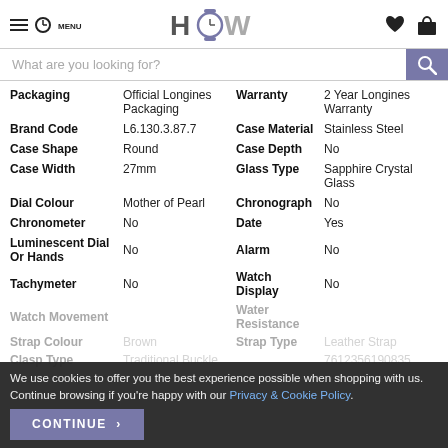HOW - Menu, Search, Wishlist, Cart
What are you looking for?
| Field | Value | Field | Value |
| --- | --- | --- | --- |
| Packaging | Official Longines Packaging | Warranty | 2 Year Longines Warranty |
| Brand Code | L6.130.3.87.7 | Case Material | Stainless Steel |
| Case Shape | Round | Case Depth | No |
| Case Width | 27mm | Glass Type | Sapphire Crystal Glass |
| Dial Colour | Mother of Pearl | Chronograph | No |
| Chronometer | No | Date | Yes |
| Luminescent Dial Or Hands | No | Alarm | No |
| Tachymeter | No | Watch Display | No |
| Watch Movement |  | Water Resistance |  |
| Strap Colour | Brown | Strap Type | Leather Strap |
| Clasp Type | Traditional Buckle |  | 7612356190835 |
We use cookies to offer you the best experience possible when shopping with us. Continue browsing if you're happy with our Privacy & Cookie Policy.